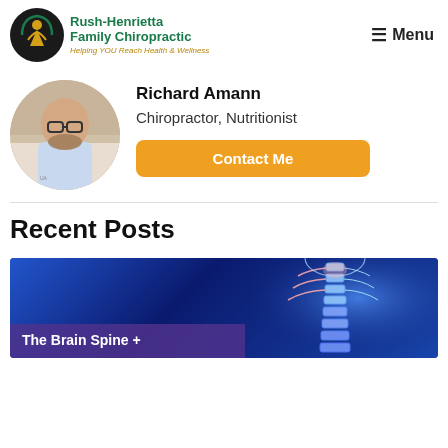Rush-Henrietta Family Chiropractic — Helping YOU Reach Health & Wellness | Menu
[Figure (photo): Circular photo of Richard Amann, a bald man with glasses and a beard, wearing a light blue shirt, smiling, in a chiropractic office setting.]
Richard Amann
Chiropractor, Nutritionist
Contact Me
Recent Posts
[Figure (photo): Medical illustration of a human spine and neck on a blue glowing background.]
The Brain Spine +